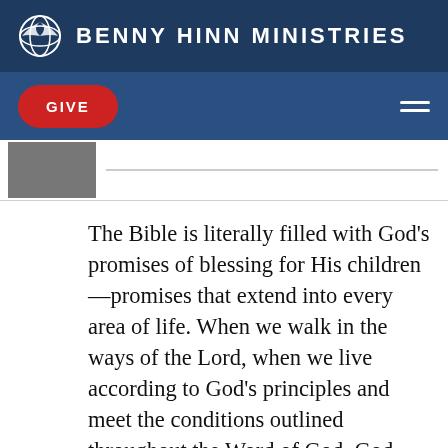BENNY HINN MINISTRIES
The Bible is literally filled with God's promises of blessing for His children—promises that extend into every area of life. When we walk in the ways of the Lord, when we live according to God's principles and meet the conditions outlined throughout the Word of God, God promises to pour out blessings in such abundance that we cannot contain them. We are promised, “Prove me now herewith, saith the Lord of